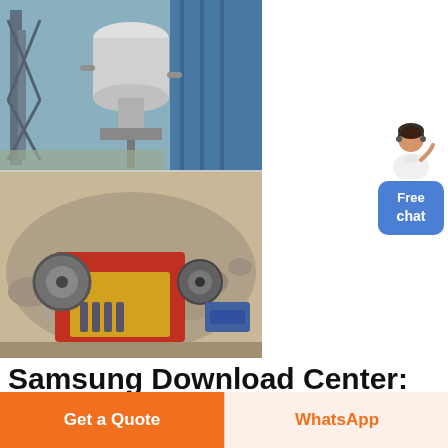[Figure (photo): Two stacked industrial machinery photos: top shows a vertical grinding mill at a plant facility with steel framework and blue tarp; bottom shows a yellow jaw crusher machine surrounded by rock rubble at a mining/quarry site.]
[Figure (illustration): Chat widget in top-right: illustration of a woman in white blouse with headset, above a blue rounded rectangle button labeled 'Free chat']
Samsung Download Center:
Get a Quote
WhatsApp